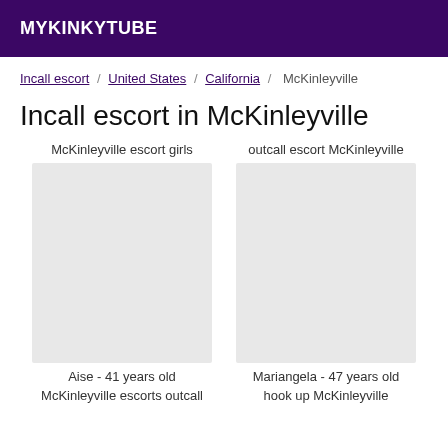MYKINKYTUBE
Incall escort / United States / California / McKinleyville
Incall escort in McKinleyville
McKinleyville escort girls
outcall escort McKinleyville
Aise - 41 years old
Mariangela - 47 years old
McKinleyville escorts outcall
hook up McKinleyville